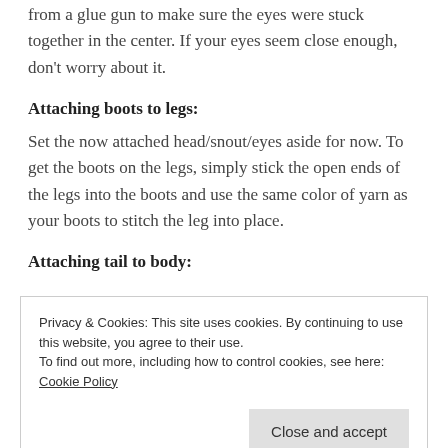from a glue gun to make sure the eyes were stuck together in the center. If your eyes seem close enough, don't worry about it.
Attaching boots to legs:
Set the now attached head/snout/eyes aside for now. To get the boots on the legs, simply stick the open ends of the legs into the boots and use the same color of yarn as your boots to stitch the leg into place.
Attaching tail to body:
Privacy & Cookies: This site uses cookies. By continuing to use this website, you agree to their use.
To find out more, including how to control cookies, see here: Cookie Policy
because the body is the same all the way around, just